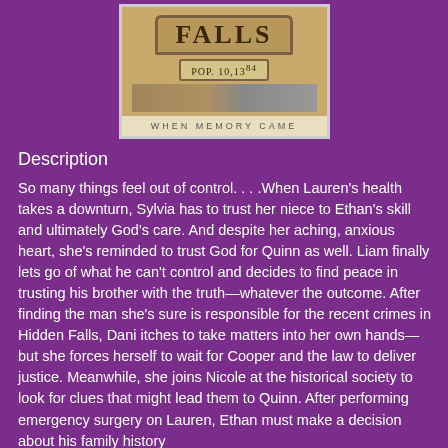[Figure (illustration): Book cover for 'Hidden Falls: When Memory Came' showing a town sign with 'FALLS' text and 'POP. 10,134' on a sub-sign, with a road in background and subtitle 'WHEN MEMORY CAME' on a light banner below.]
Description
So many things feel out of control. . . .When Lauren’s health takes a downturn, Sylvia has to trust her niece to Ethan’s skill and ultimately God’s care. And despite her aching, anxious heart, she’s reminded to trust God for Quinn as well. Liam finally lets go of what he can’t control and decides to find peace in trusting his brother with the truth—whatever the outcome. After finding the man she’s sure is responsible for the recent crimes in Hidden Falls, Dani itches to take matters into her own hands—but she forces herself to wait for Cooper and the law to deliver justice. Meanwhile, she joins Nicole at the historical society to look for clues that might lead them to Quinn. After performing emergency surgery on Lauren, Ethan must make a decision about his family history